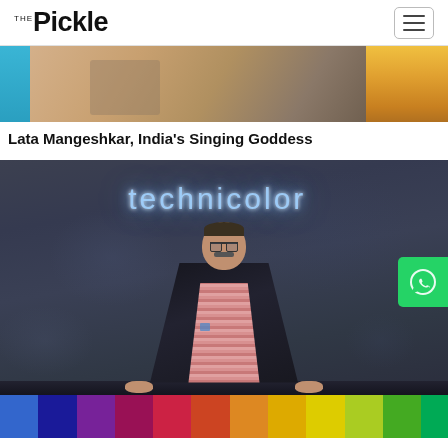THE Pickle
[Figure (photo): Partial image of Lata Mangeshkar article – colorful abstract with cyan left, golden right]
Lata Mangeshkar, India's Singing Goddess
[Figure (photo): Man in black blazer posing in front of illuminated 'technicolor' sign on stone wall, with a colorful SMPTE color bar strip at the bottom. A WhatsApp button overlays on the right.]